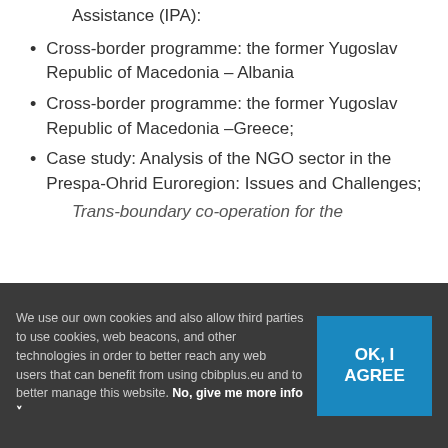Assistance (IPA):
Cross-border programme: the former Yugoslav Republic of Macedonia – Albania
Cross-border programme: the former Yugoslav Republic of Macedonia –Greece;
Case study: Analysis of the NGO sector in the Prespa-Ohrid Euroregion: Issues and Challenges;
Trans-boundary co-operation for the
We use our own cookies and also allow third parties to use cookies, web beacons, and other technologies in order to better reach any web users that can benefit from using cbibplus.eu and to better manage this website. No, give me more info ˅
OK, I AGREE